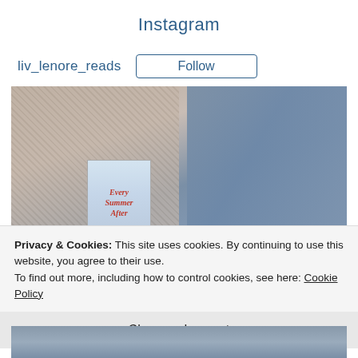Instagram
liv_lenore_reads
Follow
[Figure (photo): Photo of a book titled 'Every Summer After' on a carpet next to someone's legs in blue jeans]
Privacy & Cookies: This site uses cookies. By continuing to use this website, you agree to their use.
To find out more, including how to control cookies, see here: Cookie Policy
Close and accept
[Figure (photo): Bottom portion of photo showing legs in blue jeans]